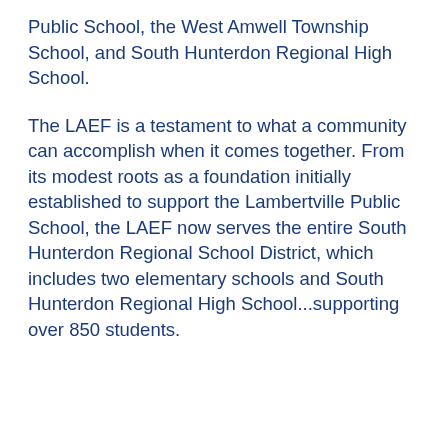Public School, the West Amwell Township School, and South Hunterdon Regional High School.
The LAEF is a testament to what a community can accomplish when it comes together. From its modest roots as a foundation initially established to support the Lambertville Public School, the LAEF now serves the entire South Hunterdon Regional School District, which includes two elementary schools and South Hunterdon Regional High School...supporting over 850 students.